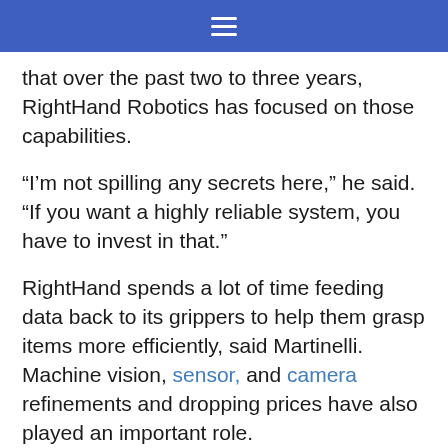≡
that over the past two to three years, RightHand Robotics has focused on those capabilities.
“I’m not spilling any secrets here,” he said. “If you want a highly reliable system, you have to invest in that.”
RightHand spends a lot of time feeding data back to its grippers to help them grasp items more efficiently, said Martinelli. Machine vision, sensor, and camera refinements and dropping prices have also played an important role.
Martinelli cited Intel’s RealSense depth cameras.Taking advantage of computer vision hardware and software, Intel said its cameras were “designed to give your products the ability